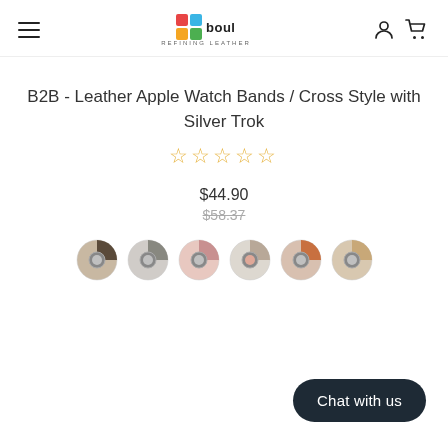Bouletta - Refining Leather (navigation header with logo, hamburger menu, account and cart icons)
B2B - Leather Apple Watch Bands / Cross Style with Silver Trok
☆☆☆☆☆ (0 stars)
$44.90
$58.37
[Figure (photo): Six circular apple watch band color swatch thumbnails showing different color combinations: dark/silver, grey/silver, pink/silver, light/silver, orange/silver, tan/silver]
Chat with us